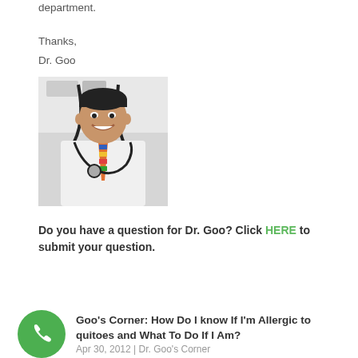department.
Thanks,
Dr. Goo
[Figure (photo): Photo of Dr. Goo, a smiling Asian male doctor in a white shirt with a colorful tie and stethoscope around his neck, in a medical office setting.]
Do you have a question for Dr. Goo?  Click HERE to submit your question.
Goo's Corner: How Do I know If I'm Allergic to quitoes and What To Do If I Am?
Apr 30, 2012 | Dr. Goo's Corner